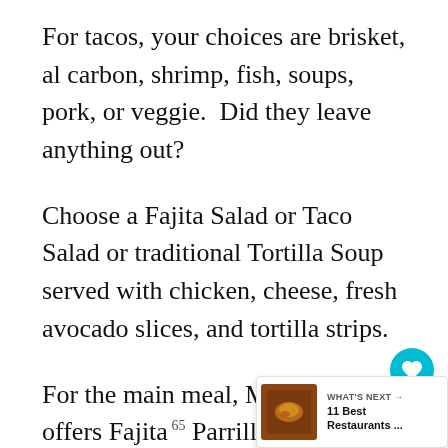For tacos, your choices are brisket, al carbon, shrimp, fish, soups, pork, or veggie.  Did they leave anything out?
Choose a Fajita Salad or Taco Salad or traditional Tortilla Soup served with chicken, cheese, fresh avocado slices, and tortilla strips.
For the main meal, Maria Cuca offers Fajita Parrillada, a combo of beef, chicken, sausa, pork, and shrimp; Chili Rellenos, C Asada, Carnitas, seafood platters, burritos,